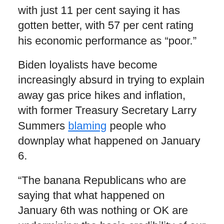with just 11 per cent saying it has gotten better, with 57 per cent rating his economic performance as “poor.”
Biden loyalists have become increasingly absurd in trying to explain away gas price hikes and inflation, with former Treasury Secretary Larry Summers blaming people who downplay what happened on January 6.
“The banana Republicans who are saying that what happened on January 6th was nothing or OK are undermining the basic credibility of our country’s institutions and that in turn feeds through, uh, for inflation,” said Summers.
BlackRock CEO Larry Fink also ludicrously claimed “nationalism” was to blame for inflation, asserting, “The rise– whether you call it nationalism or the rise of this belief that we have to focus on communities that have been devastated by globalization, we need to find